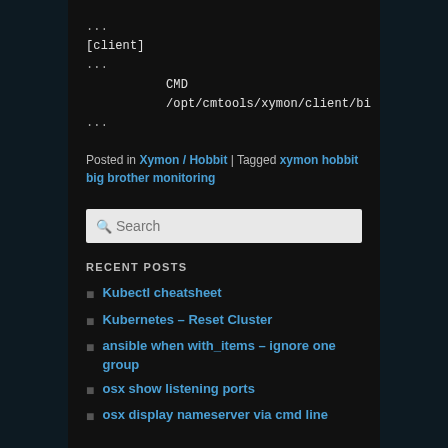...
[client]
...
    CMD /opt/cmtools/xymon/client/bi
...
Posted in Xymon / Hobbit | Tagged xymon hobbit big brother monitoring
Search
RECENT POSTS
Kubectl cheatsheet
Kubernetes – Reset Cluster
ansible when with_items – ignore one group
osx show listening ports
osx display nameserver via cmd line